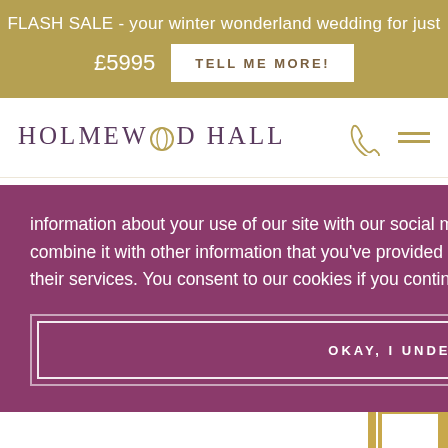FLASH SALE - your winter wonderland wedding for just £5995  TELL ME MORE!
[Figure (logo): Holmewood Hall logo text in serif uppercase with stylized double-O]
information about your use of our site with our social media, advertising and analytics partners who may combine it with other information that you've provided to them or that they've collected from your use of their services. You consent to our cookies if you continue to use our website. Learn more
OKAY, I UNDERSTAND